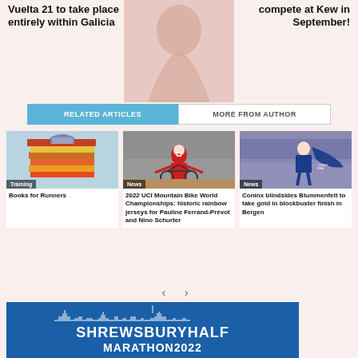Vuelta 21 to take place entirely within Galicia
compete at Kew in September!
RELATED ARTICLES
MORE FROM AUTHOR
[Figure (photo): Stack of colorful books with an open book on top, Training category]
Training
Books for Runners
[Figure (photo): Mountain bike rider celebrating win, News category]
News
2022 UCI Mountain Bike World Championships: historic rainbow jerseys for Pauline Ferrand-Prévot and Nino Schurter
[Figure (photo): Triathlete Coninx finishing race with French flag, News category]
News
Coninx blindsides Blummenfelt to take gold in blockbuster finish in Bergen
[Figure (logo): Shrewsbury Half Marathon 2022 blue banner logo]